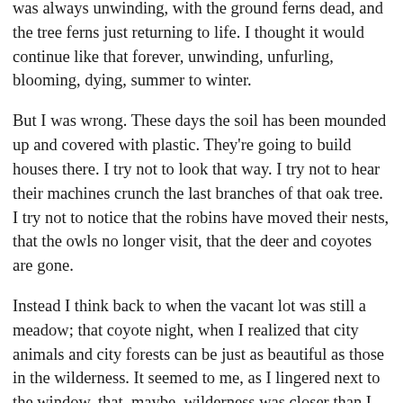was always unwinding, with the ground ferns dead, and the tree ferns just returning to life. I thought it would continue like that forever, unwinding, unfurling, blooming, dying, summer to winter.
But I was wrong. These days the soil has been mounded up and covered with plastic. They're going to build houses there. I try not to look that way. I try not to hear their machines crunch the last branches of that oak tree. I try not to notice that the robins have moved their nests, that the owls no longer visit, that the deer and coyotes are gone.
Instead I think back to when the vacant lot was still a meadow; that coyote night, when I realized that city animals and city forests can be just as beautiful as those in the wilderness. It seemed to me, as I lingered next to the window, that, maybe, wilderness was closer than I thought. It seemed to me that you could find it anywhere, maybe even right there in the meadow.